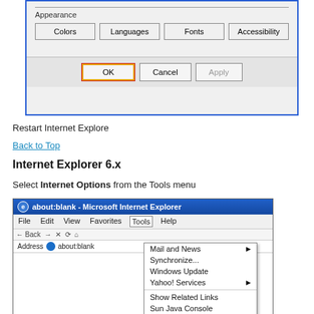[Figure (screenshot): Internet Explorer Options dialog showing Appearance section with Colors, Languages, Fonts, Accessibility buttons and OK (highlighted with red border), Cancel, Apply buttons at bottom]
Restart Internet Explore
Back to Top
Internet Explorer 6.x
Select Internet Options from the Tools menu
[Figure (screenshot): Microsoft Internet Explorer 6 browser window showing Tools menu open with options: Mail and News, Synchronize..., Windows Update, Yahoo! Services, Show Related Links, Sun Java Console, Internet Options... (highlighted)]